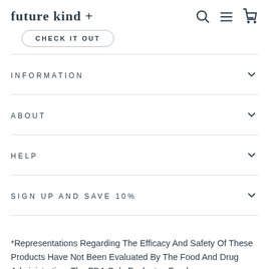future kind +
CHECK IT OUT
INFORMATION
ABOUT
HELP
SIGN UP AND SAVE 10%
*Representations Regarding The Efficacy And Safety Of These Products Have Not Been Evaluated By The Food And Drug Administration. The FDA Only Evaluates Foods